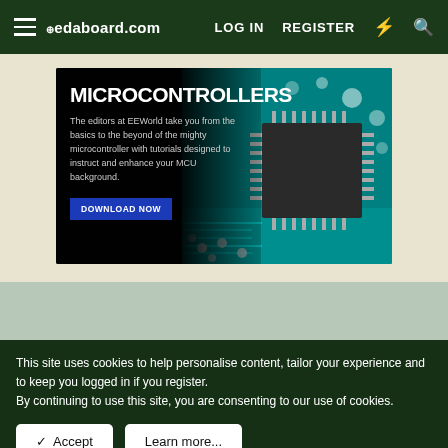edaboard.com  LOG IN  REGISTER
[Figure (screenshot): Advertisement banner for EEWorld Microcontrollers guide showing a circuit board with microchip. Title: MICROCONTROLLERS. Body text: The editors at EEWorld take you from the basics to the beyond of the mighty microcontroller with tutorials designed to instruct and enhance your MCU background. Button: DOWNLOAD NOW]
This site uses cookies to help personalise content, tailor your experience and to keep you logged in if you register. By continuing to use this site, you are consenting to our use of cookies.
Accept  Learn more...